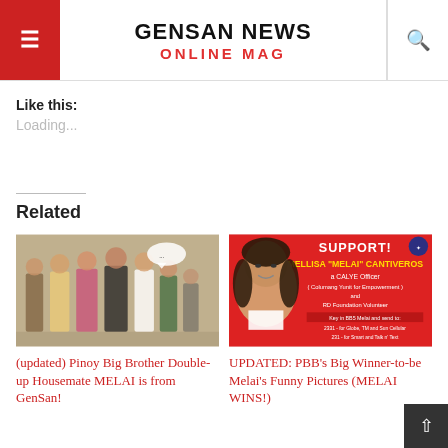GENSAN NEWS ONLINE MAG
Like this:
Loading...
Related
[Figure (photo): Group of young women posing and standing together indoors]
(updated) Pinoy Big Brother Double-up Housemate MELAI is from GenSan!
[Figure (photo): Red promotional poster: SUPPORT! MELLISA 'MELAI' CANTIVEROS a CALYE Officer (Columang Yunit for Empowerment) and RD Foundation Volunteer with text instructions to vote]
UPDATED: PBB's Big Winner-to-be Melai's Funny Pictures (MELAI WINS!)